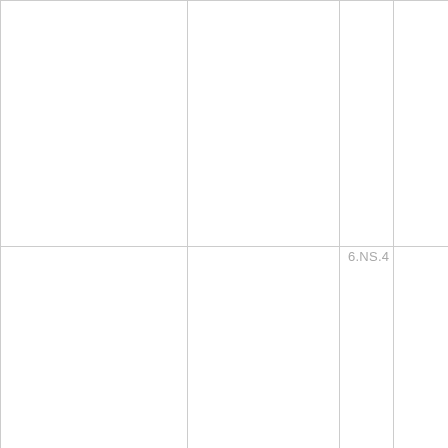|  |  |  |  |
|  |  | 6.NS.4 |  |